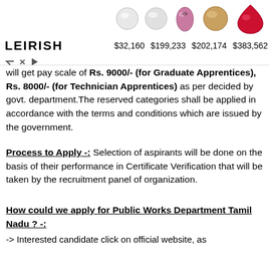[Figure (other): Advertisement banner with gemstone images and prices: $32,160, $199,233, $202,174, $383,562, with LEIRISH logo]
will get pay scale of Rs. 9000/- (for Graduate Apprentices), Rs. 8000/- (for Technician Apprentices) as per decided by govt. department.The reserved categories shall be applied in accordance with the terms and conditions which are issued by the government.
Process to Apply -: Selection of aspirants will be done on the basis of their performance in Certificate Verification that will be taken by the recruitment panel of organization.
How could we apply for Public Works Department Tamil Nadu ? -:
-> Interested candidate click on official website, as